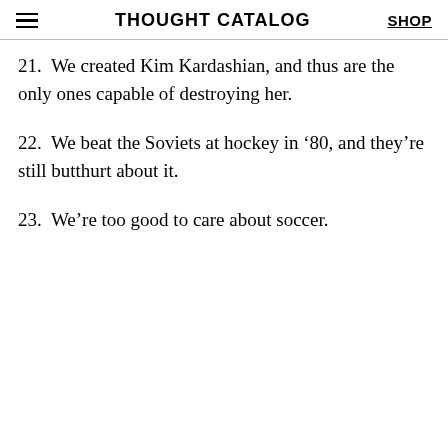THOUGHT CATALOG | SHOP
21. We created Kim Kardashian, and thus are the only ones capable of destroying her.
22. We beat the Soviets at hockey in ‘80, and they’re still butthurt about it.
23. We’re too good to care about soccer.